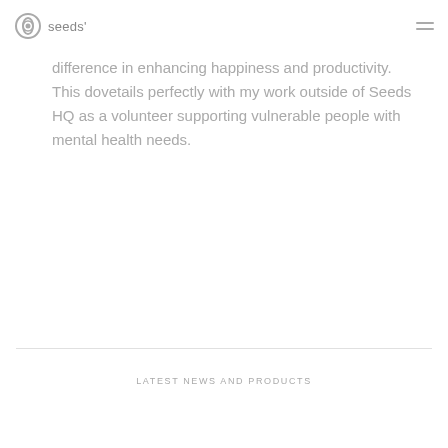seeds'
difference in enhancing happiness and productivity. This dovetails perfectly with my work outside of Seeds HQ as a volunteer supporting vulnerable people with mental health needs.
LATEST NEWS AND PRODUCTS